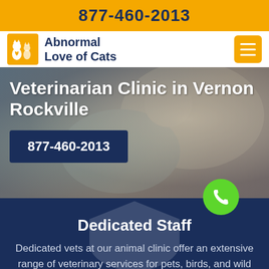877-460-2013
[Figure (logo): Abnormal Love of Cats logo with two cats silhouettes in orange/gold on left and bold navy text on right]
Veterinarian Clinic in Vernon Rockville
877-460-2013
[Figure (illustration): Green circular phone/call floating action button]
Dedicated Staff
Dedicated vets at our animal clinic offer an extensive range of veterinary services for pets, birds, and wild animals.